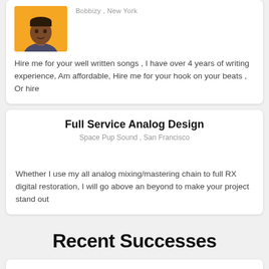[Figure (photo): Profile photo of a person on an orange/yellow background]
Bobbizy , New York
Hire me for your well written songs , I have over 4 years of writing experience, Am affordable, Hire me for your hook on your beats , Or hire
Full Service Analog Design
Space Pup Sound , San Francisco
Whether I use my all analog mixing/mastering chain to full RX digital restoration, I will go above an beyond to make your project stand out
Recent Successes